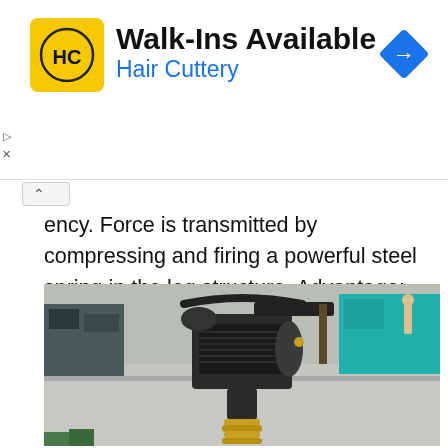[Figure (infographic): Advertisement banner for Hair Cuttery salon. Yellow square logo with HC letters, title 'Walk-Ins Available', subtitle 'Hair Cuttery' in blue, and a blue navigation/directions diamond icon on the right.]
ency. Force is transmitted by compressing and firing a powerful steel spring in the leg structure. Advantage: maximum impact during ramming due to the relatively small contact area. This allows you to reach the limit values of the density of the processed layer.
[Figure (photo): Photograph of a mechanical rammer/tamper machine engine and spring assembly on a street/pavement background. Shows the engine block, handlebars, and the distinctive spring mechanism at the bottom. Outdoor urban setting visible in background.]